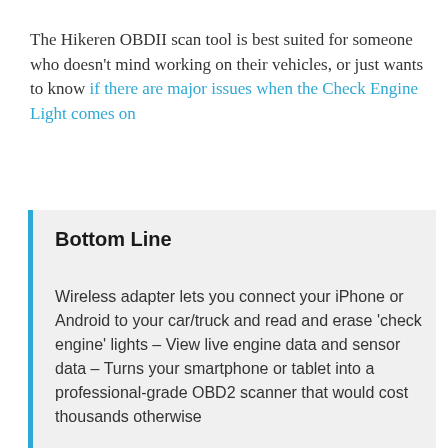The Hikeren OBDII scan tool is best suited for someone who doesn't mind working on their vehicles, or just wants to know if there are major issues when the Check Engine Light comes on
Bottom Line
Wireless adapter lets you connect your iPhone or Android to your car/truck and read and erase 'check engine' lights – View live engine data and sensor data – Turns your smartphone or tablet into a professional-grade OBD2 scanner that would cost thousands otherwise